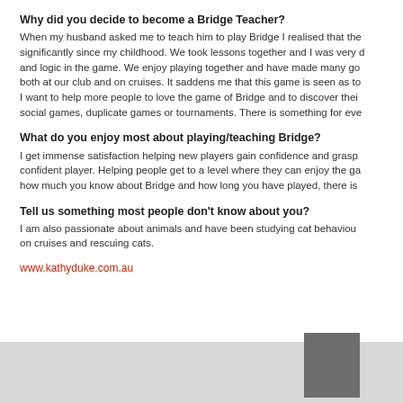Why did you decide to become a Bridge Teacher?
When my husband asked me to teach him to play Bridge I realised that the game had changed significantly since my childhood. We took lessons together and I was very drawn to the strategy and logic in the game. We enjoy playing together and have made many good friends through Bridge both at our club and on cruises. It saddens me that this game is seen as too difficult to learn. I want to help more people to love the game of Bridge and to discover their preferred format, social games, duplicate games or tournaments. There is something for eve
What do you enjoy most about playing/teaching Bridge?
I get immense satisfaction helping new players gain confidence and grasp the concepts to become a confident player. Helping people get to a level where they can enjoy the ga… No matter how much you know about Bridge and how long you have played, there is
Tell us something most people don't know about you?
I am also passionate about animals and have been studying cat behaviour… on cruises and rescuing cats.
www.kathyduke.com.au